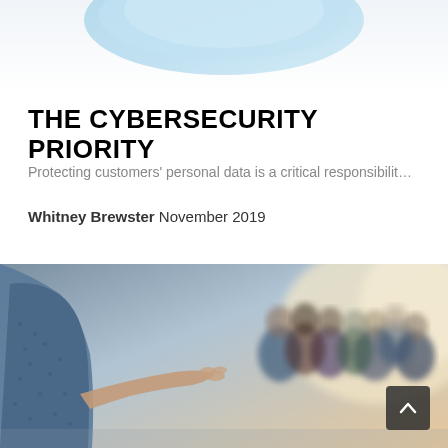[Figure (photo): Partial top view of a blue card or device, cropped at the top of the page]
THE CYBERSECURITY PRIORITY
Protecting customers' personal data is a critical responsibilit…
Whitney Brewster November 2019
[Figure (photo): A presenter in a blue patterned shirt gestures with an open hand to an audience of blurred people in a bright conference room setting]